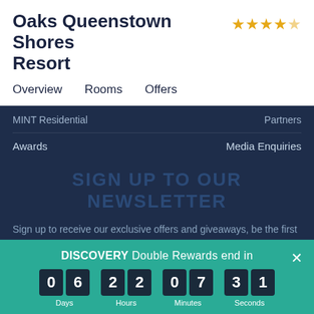Oaks Queenstown Shores Resort
[Figure (other): 4.5 star rating shown as gold stars]
Overview   Rooms   Offers
MINT Residential   Partners
Awards   Media Enquiries
Sign Up To Our Newsletter
Sign up to receive our exclusive offers and giveaways, be the first to hear about exciting updates and special sneak previews to our sale events.
Email address   SUBMIT
DISCOVERY Double Rewards end in  0 6  2 2  0 7  3 1  Days Hours Minutes Seconds